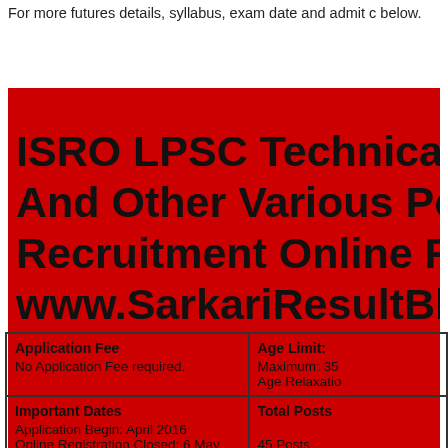For more futures details, syllabus, exam date and admit c below.
[Figure (infographic): Red banner with bold black text reading: ISRO LPSC Technical A And Other Various Post Recruitment Online For www.SarkariResultBlog]
| Application Fee
No Application Fee required. | Age Limit:
Maximum: 35
Age Relaxatio |
| Important Dates
Application Begin: April 2016
Online Registration Closed: 6 May | Total Posts

45 Posts |